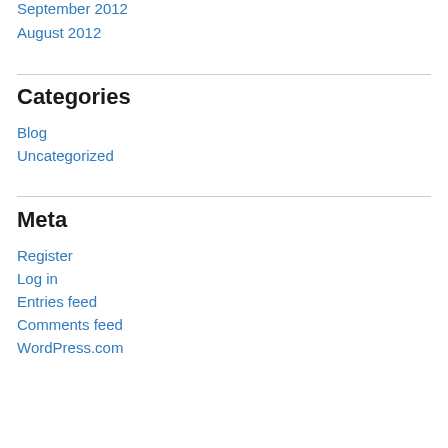September 2012
August 2012
Categories
Blog
Uncategorized
Meta
Register
Log in
Entries feed
Comments feed
WordPress.com